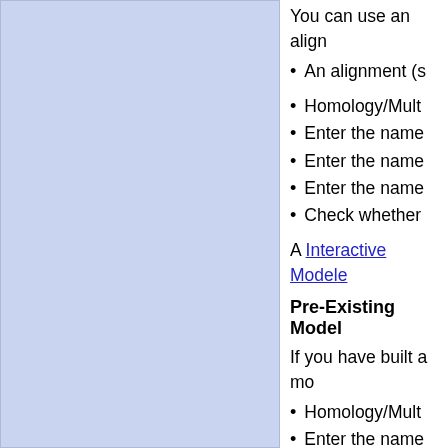[Figure (other): Light blue rectangular panel on the left side of the page]
You can use an align
An alignment (s
Homology/Mult
Enter the name
Enter the name
Enter the name
Check whether
A Interactive Modele
Pre-Existing Model
If you have built a mo
Homology/Mult
Enter the name
A Interactive Modeler
9.1.4.1 Modeler's
Once you have made